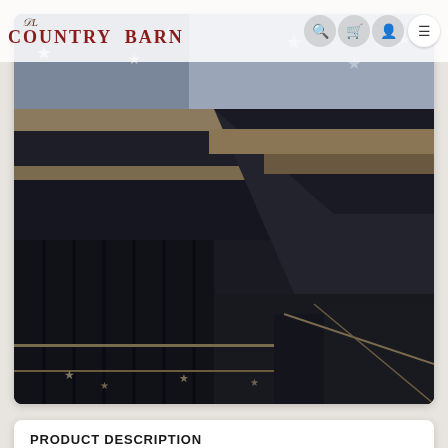DL Country Barn
[Figure (photo): Close-up photograph of a dark navy/black American flag quilt or bedding with star patterns and geometric designs, showing stripes in dark and tan/beige colors]
PRODUCT DESCRIPTION
The Patriot Star Black Quilt Set is a beautiful...